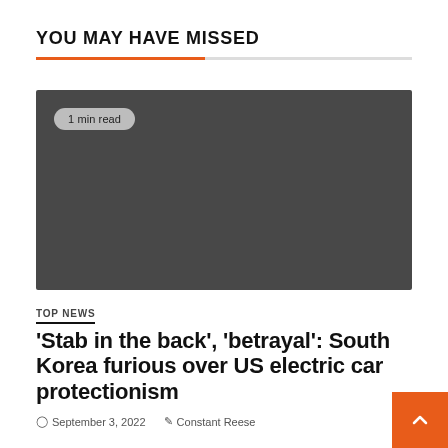YOU MAY HAVE MISSED
[Figure (photo): Dark grey placeholder image block with a '1 min read' badge in the top-left corner]
TOP NEWS
'Stab in the back', 'betrayal': South Korea furious over US electric car protectionism
September 3, 2022  Constant Reese